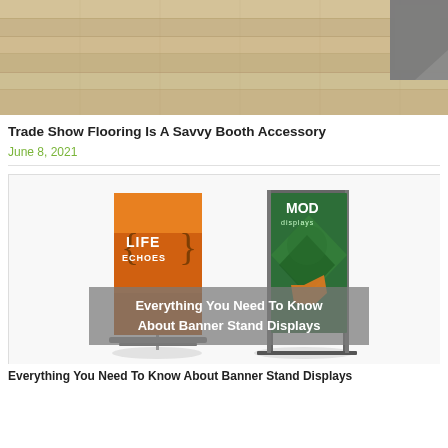[Figure (photo): Trade show flooring photo showing wood-look interlocking floor tiles, beige and dark gray, partially assembled.]
Trade Show Flooring Is A Savvy Booth Accessory
June 8, 2021
[Figure (photo): Photo of two banner stand displays: a retractable roll-up banner with orange 'LIFE ECHOES' design on the left, and a fabric tension display with green MOD Displays branding on the right. Overlay text reads 'Everything You Need To Know About Banner Stand Displays'.]
Everything You Need To Know About Banner Stand Displays